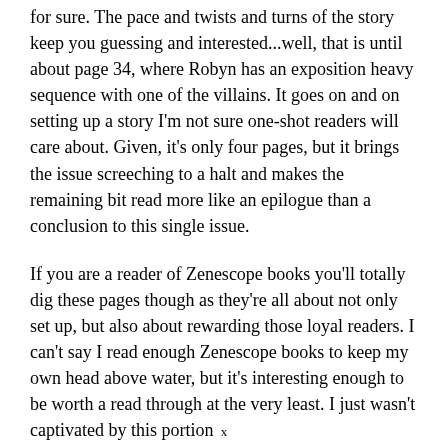for sure. The pace and twists and turns of the story keep you guessing and interested...well, that is until about page 34, where Robyn has an exposition heavy sequence with one of the villains. It goes on and on setting up a story I'm not sure one-shot readers will care about. Given, it's only four pages, but it brings the issue screeching to a halt and makes the remaining bit read more like an epilogue than a conclusion to this single issue.
If you are a reader of Zenescope books you'll totally dig these pages though as they're all about not only set up, but also about rewarding those loyal readers. I can't say I read enough Zenescope books to keep my own head above water, but it's interesting enough to be worth a read through at the very least. I just wasn't captivated by this portion
x